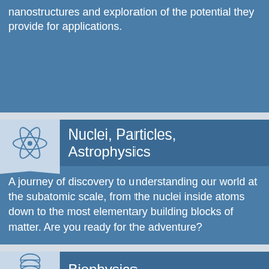nanostructures and exploration of the potential they provide for applications.
Nuclei, Particles, Astrophysics
A journey of discovery to understanding our world at the subatomic scale, from the nuclei inside atoms down to the most elementary building blocks of matter. Are you ready for the adventure?
Biophysics
[Figure (photo): Photo strip showing students in a laboratory setting]